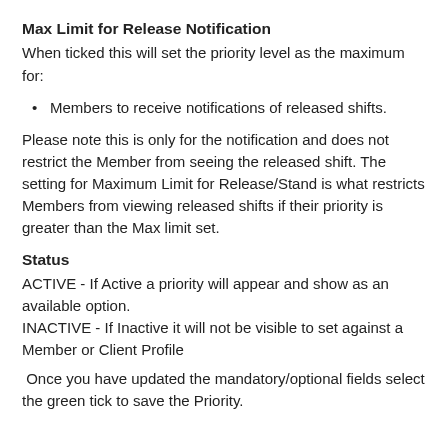Max Limit for Release Notification
When ticked this will set the priority level as the maximum for:
Members to receive notifications of released shifts.
Please note this is only for the notification and does not restrict the Member from seeing the released shift. The setting for Maximum Limit for Release/Stand is what restricts Members from viewing released shifts if their priority is greater than the Max limit set.
Status
ACTIVE - If Active a priority will appear and show as an available option.
INACTIVE - If Inactive it will not be visible to set against a Member or Client Profile
Once you have updated the mandatory/optional fields select the green tick to save the Priority.